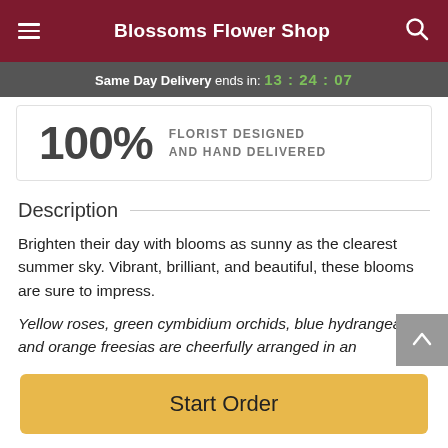Blossoms Flower Shop
Same Day Delivery ends in: 13:24:07
100% FLORIST DESIGNED AND HAND DELIVERED
Description
Brighten their day with blooms as sunny as the clearest summer sky. Vibrant, brilliant, and beautiful, these blooms are sure to impress.
Yellow roses, green cymbidium orchids, blue hydrangea, and orange freesias are cheerfully arranged in an
Start Order